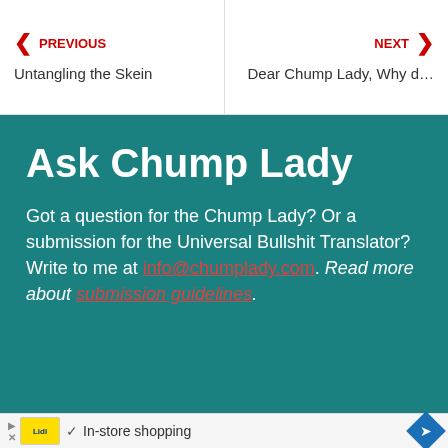PREVIOUS | Untangling the Skein    NEXT | Dear Chump Lady, Why d…
Ask Chump Lady
Got a question for the Chump Lady? Or a submission for the Universal Bullshit Translator? Write to me at info@chumplady.com. Read more about submission guidelines.
[Figure (infographic): Advertisement bar with Lidl logo, play and close icons, checkmark, 'In-store shopping' text, and a blue diamond navigation arrow]